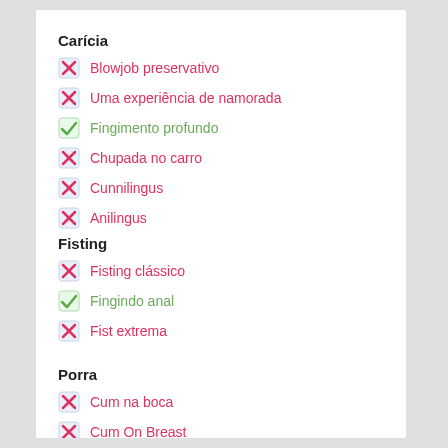Carícia
Blowjob preservativo
Uma experiência de namorada
Fingimento profundo
Chupada no carro
Cunnilingus
Anilingus
Fisting
Fisting clássico
Fingindo anal
Fist extrema
Porra
Cum na boca
Cum On Breast
Cum In Face